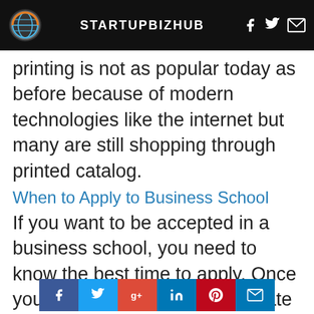STARTUPBIZHUB
printing is not as popular today as before because of modern technologies like the internet but many are still shopping through printed catalog.
When to Apply to Business School
If you want to be accepted in a business school, you need to know the best time to apply. Once you’ve finished an undergraduate course (whether related or not), you have to prepare yourself for the challenging process.